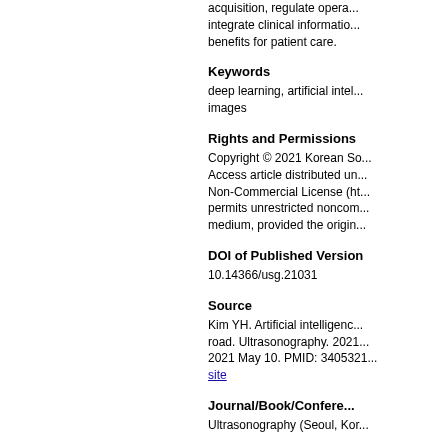acquisition, regulate operations, integrate clinical information, benefits for patient care.
Keywords
deep learning, artificial intelligence, images
Rights and Permissions
Copyright © 2021 Korean Society of Ultrasound in Medicine. This is an Open Access article distributed under the terms of the Creative Commons Attribution Non-Commercial License (http...) which permits unrestricted noncommercial use, distribution, and reproduction in any medium, provided the original work is properly cited.
DOI of Published Version
10.14366/usg.21031
Source
Kim YH. Artificial intelligence in ultrasonography: the long and winding road. Ultrasonography. 2021 Oct;40(4):473-483. Epub 2021 May 10. PMID: 34053217 site
Journal/Book/Conference
Ultrasonography (Seoul, Korea)